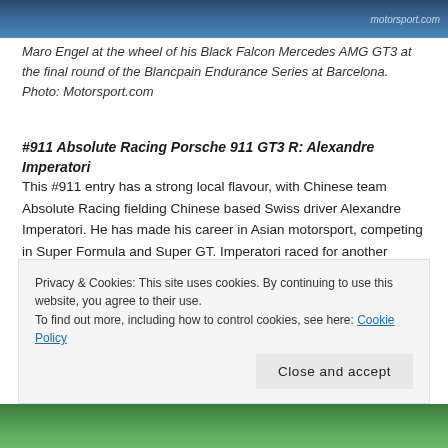[Figure (photo): Top portion of a motorsport photo showing a racing car, partially cropped, with motorsport.com watermark visible.]
Maro Engel at the wheel of his Black Falcon Mercedes AMG GT3 at the final round of the Blancpain Endurance Series at Barcelona. Photo: Motorsport.com
#911 Absolute Racing Porsche 911 GT3 R: Alexandre Imperatori
This #911 entry has a strong local flavour, with Chinese team Absolute Racing fielding Chinese based Swiss driver Alexandre Imperatori. He has made his career in Asian motorsport, competing in Super Formula and Super GT. Imperatori raced for another Porsche team in Blancpain GT Asia, but joins Absolute for Macau.
He has also competed in a KCMG Nissan GT-R in the Intercontinental
Privacy & Cookies: This site uses cookies. By continuing to use this website, you agree to their use.
To find out more, including how to control cookies, see here: Cookie Policy
[Figure (photo): Bottom portion of a motorsport photo showing a racing car on track, partially cropped.]